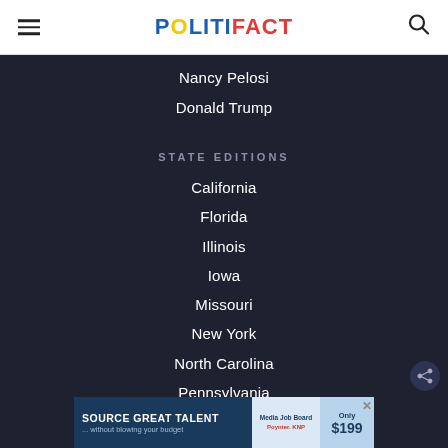POLITIFACT
Nancy Pelosi
Donald Trump
STATE EDITIONS
California
Florida
Illinois
Iowa
Missouri
New York
North Carolina
Pennsylvania
Texas
[Figure (screenshot): Advertisement banner: SOURCE GREAT TALENT ...without blowing your budget | Media Job Board | Only $199]